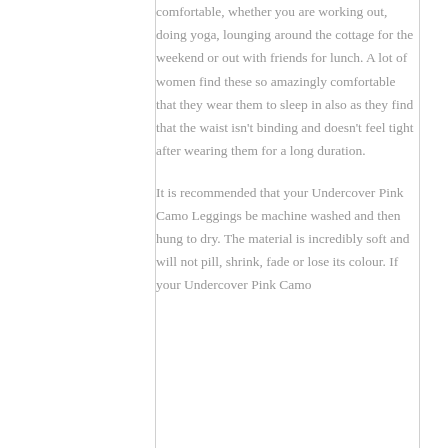comfortable, whether you are working out, doing yoga, lounging around the cottage for the weekend or out with friends for lunch. A lot of women find these so amazingly comfortable that they wear them to sleep in also as they find that the waist isn't binding and doesn't feel tight after wearing them for a long duration.
It is recommended that your Undercover Pink Camo Leggings be machine washed and then hung to dry. The material is incredibly soft and will not pill, shrink, fade or lose its colour. If your Undercover Pink Camo Leggings are in the shops...